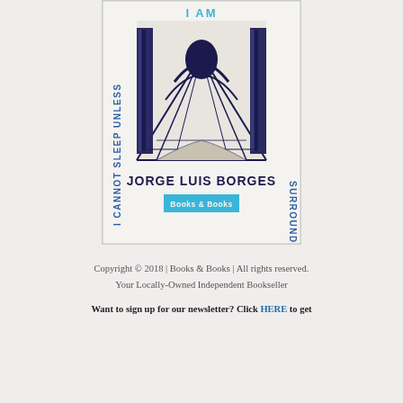[Figure (photo): Photo of a book cover titled 'I Cannot Sleep Unless I Am Surrounded By Books' by Jorge Luis Borges, with a woodcut-style illustration of a library corridor, text in blue and dark blue, and a 'Books & Books' label at the bottom]
Copyright © 2018 | Books & Books | All rights reserved.
Your Locally-Owned Independent Bookseller
Want to sign up for our newsletter? Click HERE to get